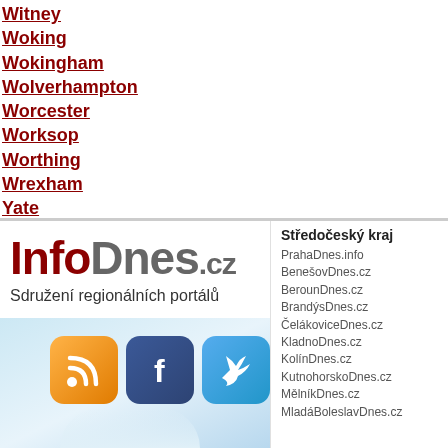Witney
Woking
Wokingham
Wolverhampton
Worcester
Worksop
Worthing
Wrexham
Yate
York
[Figure (logo): InfoDnes.cz logo with tagline 'Sdružení regionálních portálů' and social media icons (RSS, Facebook, Twitter) on a light blue background with a hand illustration]
Středočeský kraj
PrahaDnes.info
BenešovDnes.cz
BerounDnes.cz
BrandýsDnes.cz
ČelákoviceDnes.cz
KladnoDnes.cz
KolínDnes.cz
KutnohorskoDnes.cz
MělníkDnes.cz
MladáBoleslavDnes.cz